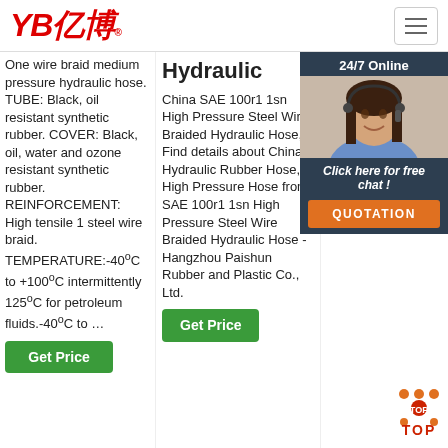[Figure (logo): YB亿博 company logo in red with Chinese characters]
One wire braid medium pressure hydraulic hose. TUBE: Black, oil resistant synthetic rubber. COVER: Black, oil, water and ozone resistant synthetic rubber. REINFORCEMENT: High tensile 1 steel wire braid. TEMPERATURE:-40°C to +100°C intermittently 125°C for petroleum fluids.-40°C to …
Hydraulic
China SAE 100r1 1sn High Pressure Steel Wire Braided Hydraulic Hose, Find details about China Hydraulic Rubber Hose, High Pressure Hose from SAE 100r1 1sn High Pressure Steel Wire Braided Hydraulic Hose - Hangzhou Paishun Rubber and Plastic Co., Ltd.
Hose &
Te Info Aer Hos Pre Cor Syn tube abr cov min radi Temperature Range: –46°C to +127°C [–50°F to +260°F] Meets or exceeds: EN853 Type 1SN requirements, SAE
[Figure (screenshot): 24/7 Online chat widget with agent photo, 'Click here for free chat!' text, and QUOTATION button]
[Figure (infographic): TOP badge with orange and red dots]
Get Price
Get Price